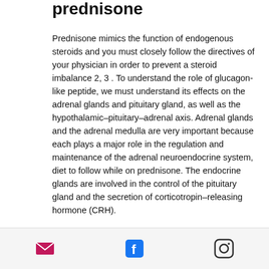prednisone
Prednisone mimics the function of endogenous steroids and you must closely follow the directives of your physician in order to prevent a steroid imbalance 2, 3 . To understand the role of glucagon-like peptide, we must understand its effects on the adrenal glands and pituitary gland, as well as the hypothalamic–pituitary–adrenal axis. Adrenal glands and the adrenal medulla are very important because each plays a major role in the regulation and maintenance of the adrenal neuroendocrine system, diet to follow while on prednisone. The endocrine glands are involved in the control of the pituitary gland and the secretion of corticotropin–releasing hormone (CRH).
The effects of glucagon-like peptide on the
[Figure (infographic): Footer bar with email, Facebook, and Instagram social media icons]